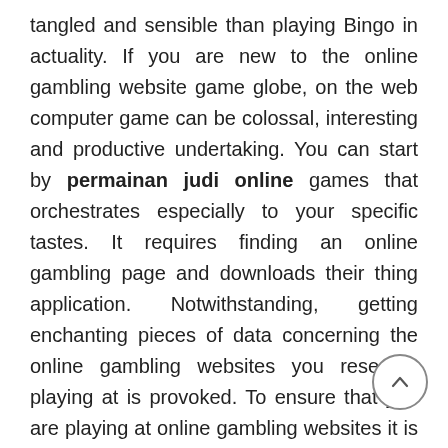tangled and sensible than playing Bingo in actuality. If you are new to the online gambling website game globe, on the web computer game can be colossal, interesting and productive undertaking. You can start by permainan judi online games that orchestrates especially to your specific tastes. It requires finding an online gambling page and downloads their thing application. Notwithstanding, getting enchanting pieces of data concerning the online gambling websites you research playing at is provoked. To ensure that you are playing at online gambling websites it is worth to look at their regards to use issues, current positive conditions, and strategy of games, and so forth Consent to these measures before you make your made sure about starting part, and you are generously genuinely subject to have a fantastic experience and empower time.